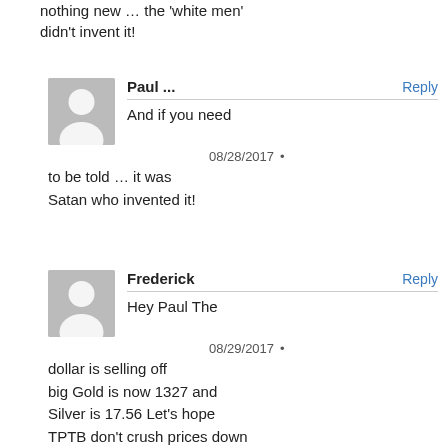nothing new … the 'white men' didn't invent it!
Paul ...
Reply
And if you need to be told … it was Satan who invented it!
08/28/2017 •
Frederick
Reply
Hey Paul The dollar is selling off big Gold is now 1327 and Silver is 17.56 Let's hope TPTB don't crush prices down
08/29/2017 •